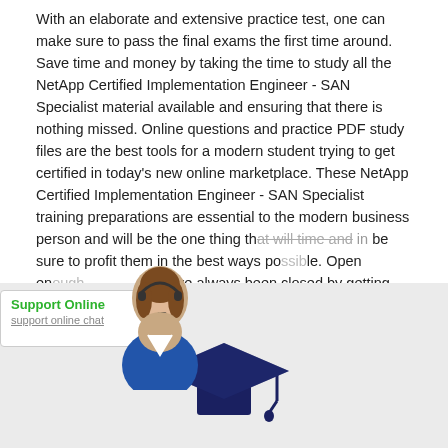With an elaborate and extensive practice test, one can make sure to pass the final exams the first time around. Save time and money by taking the time to study all the NetApp Certified Implementation Engineer - SAN Specialist material available and ensuring that there is nothing missed. Online questions and practice PDF study files are the best tools for a modern student trying to get certified in today's new online marketplace. These NetApp Certified Implementation Engineer - SAN Specialist training preparations are essential to the modern business person and will be the one thing that will time and again be sure to profit them in the best ways possible. Open en opportunities that have always been closed by getting the NetApp Certified Implementation Engineer - SAN Specialist Certifications helped you evolve in ways never before imagined. Don't waste time on other lesser-known NetApp Certified Implementation Engineer - SAN Specialist training programs, take the tests today, and see what has been missing all along.
[Figure (illustration): Support Online chat widget with a female customer service agent wearing a headset, overlaid on the text. The widget shows 'Support Online' in green bold text with a chat link below.]
[Figure (illustration): Graduation cap (mortarboard) icon in dark navy blue color, partially visible at the bottom of the page on a light gray background.]